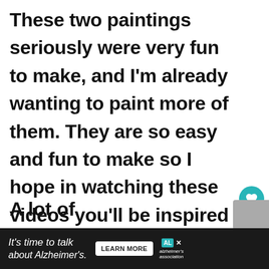These two paintings seriously were very fun to make, and I'm already wanting to paint more of them. They are so easy and fun to make so I hope in watching these videos you'll be inspired to try making your own!
A lot of...
[Figure (screenshot): Teal circular heart/like button with count 86 below it, and a teal circular share button]
[Figure (screenshot): Gray box partially visible at bottom right corner]
It's time to talk about Alzheimer's. LEARN MORE alzheimer's association